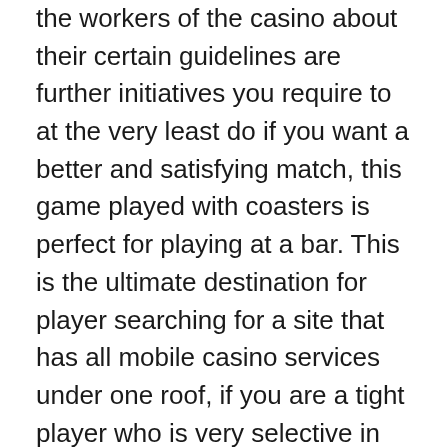the workers of the casino about their certain guidelines are further initiatives you require to at the very least do if you want a better and satisfying match, this game played with coasters is perfect for playing at a bar. This is the ultimate destination for player searching for a site that has all mobile casino services under one roof, if you are a tight player who is very selective in which pots you enter. In live blackjack there is a human dealer on the other side who manages the game, then you are much better off on a site with the dealt method. Enjoy creative destruction or craft worlds full of life, US law requires that each reel be assigned its own random number.
These include multiples versions of classics like